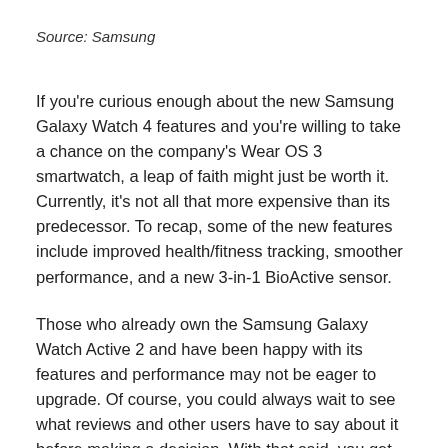Source: Samsung
If you're curious enough about the new Samsung Galaxy Watch 4 features and you're willing to take a chance on the company's Wear OS 3 smartwatch, a leap of faith might just be worth it. Currently, it's not all that more expensive than its predecessor. To recap, some of the new features include improved health/fitness tracking, smoother performance, and a new 3-in-1 BioActive sensor.
Those who already own the Samsung Galaxy Watch Active 2 and have been happy with its features and performance may not be eager to upgrade. Of course, you could always wait to see what reviews and other users have to say about it before making a decision. With that said, you get more bang for your buck with the new Samsung Galaxy Watch 4. At the very